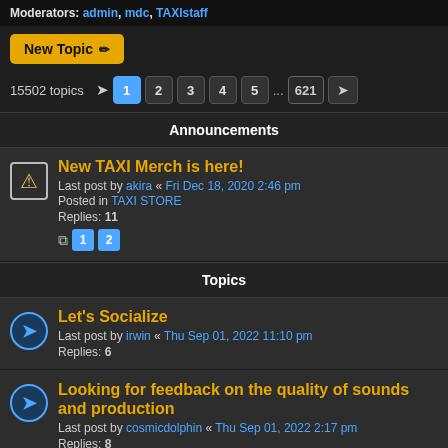Moderators: admin, mdc, TAXIstaff
New Topic
15502 topics  1 2 3 4 5 ... 621 >
Announcements
New TAXI Merch is here!
Last post by akira « Fri Dec 18, 2020 2:46 pm
Posted in TAXI STORE
Replies: 11
1 2
Topics
Let's Socialize
Last post by irwin « Thu Sep 01, 2022 11:10 pm
Replies: 6
Looking for feedback on the quality of sounds and production
Last post by cosmicdolphin « Thu Sep 01, 2022 2:17 pm
Replies: 8